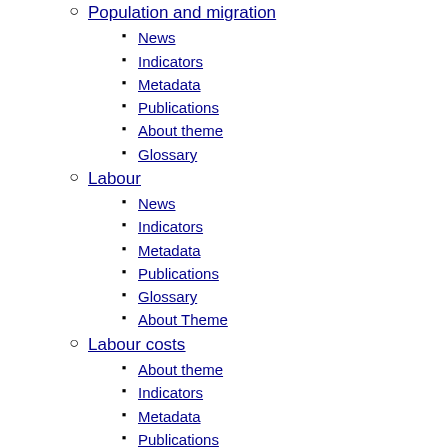Population and migration
News
Indicators
Metadata
Publications
About theme
Glossary
Labour
News
Indicators
Metadata
Publications
Glossary
About Theme
Labour costs
About theme
Indicators
Metadata
Publications
Glossary
School system and education
About theme
Indicators
Metadata
Publications